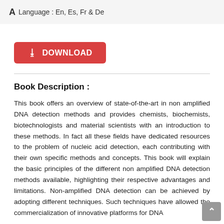A Language : En, Es, Fr & De
[Figure (other): Red DOWNLOAD button with download icon]
Book Description :
This book offers an overview of state-of-the-art in non amplified DNA detection methods and provides chemists, biochemists, biotechnologists and material scientists with an introduction to these methods. In fact all these fields have dedicated resources to the problem of nucleic acid detection, each contributing with their own specific methods and concepts. This book will explain the basic principles of the different non amplified DNA detection methods available, highlighting their respective advantages and limitations. Non-amplified DNA detection can be achieved by adopting different techniques. Such techniques have allowed the commercialization of innovative platforms for DNA